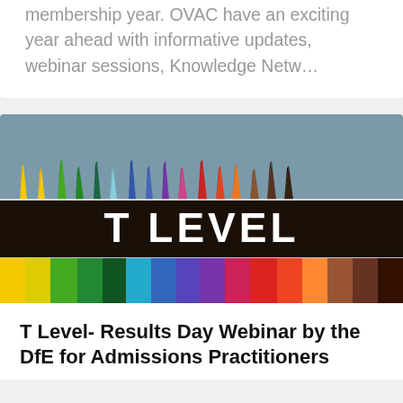membership year. OVAC have an exciting year ahead with informative updates, webinar sessions, Knowledge Netw...
[Figure (photo): Photo of colorful pencils arranged upright with tips pointing up on a blue-grey background, with a dark band in the middle displaying the text 'T LEVEL' in large white bold letters, and the lower portion showing the pencil bodies in rainbow colors.]
T Level- Results Day Webinar by the DfE for Admissions Practitioners